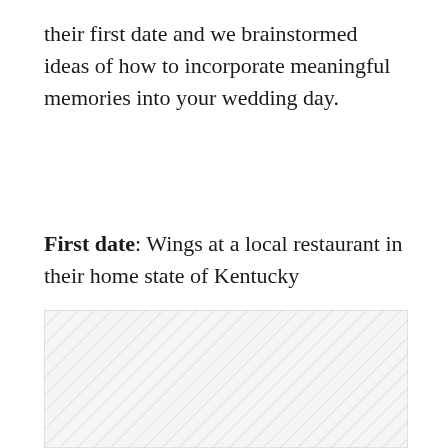their first date and we brainstormed ideas of how to incorporate meaningful memories into your wedding day.
First date: Wings at a local restaurant in their home state of Kentucky
[Figure (photo): Hatched placeholder image region with diagonal lines on white background]